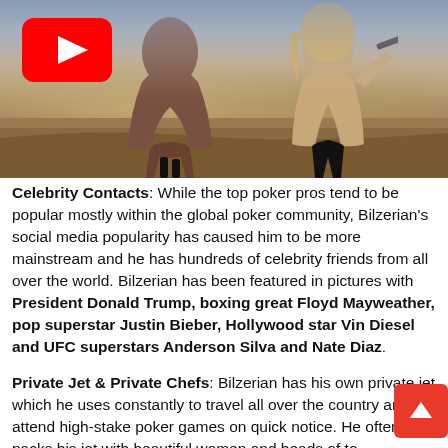[Figure (photo): Two women in bikinis in a desert landscape, with a YouTube play button overlay in the top left corner.]
Celebrity Contacts: While the top poker pros tend to be popular mostly within the global poker community, Bilzerian's social media popularity has caused him to be more mainstream and he has hundreds of celebrity friends from all over the world. Bilzerian has been featured in pictures with President Donald Trump, boxing great Floyd Mayweather, pop superstar Justin Bieber, Hollywood star Vin Diesel and UFC superstars Anderson Silva and Nate Diaz.
Private Jet & Private Chefs: Bilzerian has his own private jet which he uses constantly to travel all over the country and attend high-stake poker games on quick notice. He often packs his jet with beautiful women and heads of to